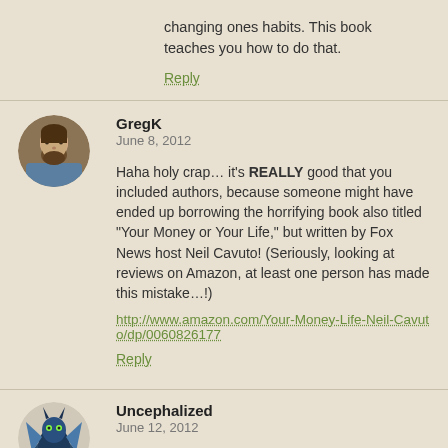changing ones habits. This book teaches you how to do that.
Reply
GregK
June 8, 2012
Haha holy crap… it's REALLY good that you included authors, because someone might have ended up borrowing the horrifying book also titled "Your Money or Your Life," but written by Fox News host Neil Cavuto! (Seriously, looking at reviews on Amazon, at least one person has made this mistake…!)
http://www.amazon.com/Your-Money-Life-Neil-Cavuto/dp/0060826177
Reply
Uncephalized
June 12, 2012
The Selfish Gene is a life-changing book. It will change the way you look at every living thing you see, if you let it really sink in. I've read it 3 times. Great